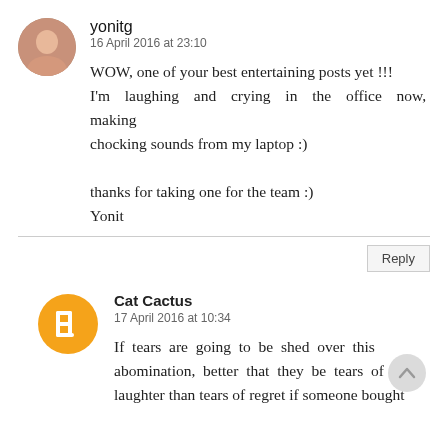yonitg
16 April 2016 at 23:10
WOW, one of your best entertaining posts yet !!! I'm laughing and crying in the office now, making chocking sounds from my laptop :)

thanks for taking one for the team :)
Yonit
Reply
Cat Cactus
17 April 2016 at 10:34
If tears are going to be shed over this abomination, better that they be tears of laughter than tears of regret if someone bought